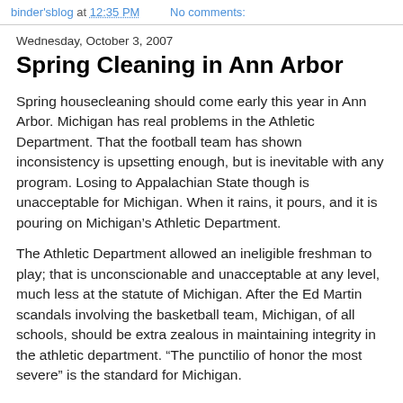binder'sblog at 12:35 PM    No comments:
Wednesday, October 3, 2007
Spring Cleaning in Ann Arbor
Spring housecleaning should come early this year in Ann Arbor. Michigan has real problems in the Athletic Department. That the football team has shown inconsistency is upsetting enough, but is inevitable with any program. Losing to Appalachian State though is unacceptable for Michigan. When it rains, it pours, and it is pouring on Michigan’s Athletic Department.
The Athletic Department allowed an ineligible freshman to play; that is unconscionable and unacceptable at any level, much less at the statute of Michigan. After the Ed Martin scandals involving the basketball team, Michigan, of all schools, should be extra zealous in maintaining integrity in the athletic department. “The punctilio of honor the most severe” is the standard for Michigan.